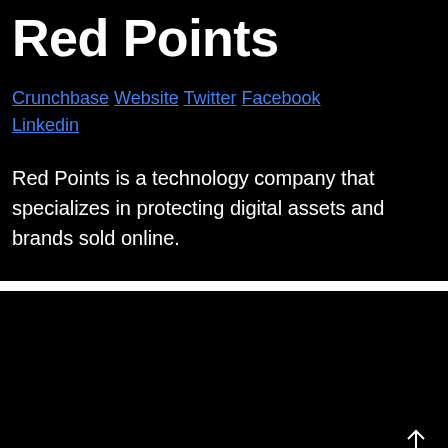Red Points
Crunchbase Website Twitter Facebook Linkedin
Red Points is a technology company that specializes in protecting digital assets and brands sold online.
[Figure (other): Black background area with an up-arrow icon in the bottom right corner]